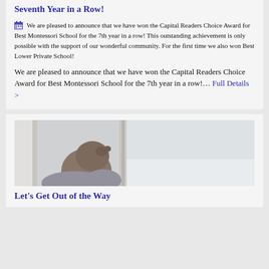Seventh Year in a Row!
We are pleased to announce that we have won the Capital Readers Choice Award for Best Montessori School for the 7th year in a row! This outstanding achievement is only possible with the support of our wonderful community. For the first time we also won Best Lower Private School!
We are pleased to announce that we have won the Capital Readers Choice Award for Best Montessori School for the 7th year in a row!... Full Details >
[Figure (photo): A child with hair pulled up, viewed from behind/side, looking out through a glass door or window at a snowy outdoor scene]
Let’s Get Out of the Way